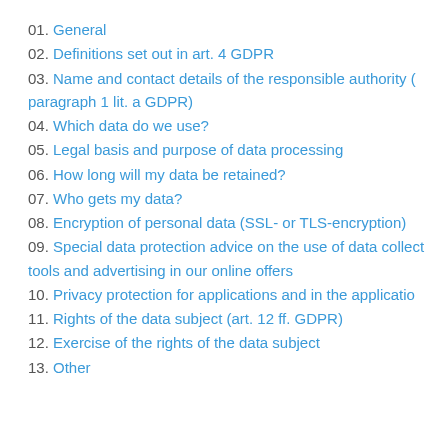01. General
02. Definitions set out in art. 4 GDPR
03. Name and contact details of the responsible authority (paragraph 1 lit. a GDPR)
04. Which data do we use?
05. Legal basis and purpose of data processing
06. How long will my data be retained?
07. Who gets my data?
08. Encryption of personal data (SSL- or TLS-encryption)
09. Special data protection advice on the use of data collection tools and advertising in our online offers
10. Privacy protection for applications and in the application process
11. Rights of the data subject (art. 12 ff. GDPR)
12. Exercise of the rights of the data subject
13. Other